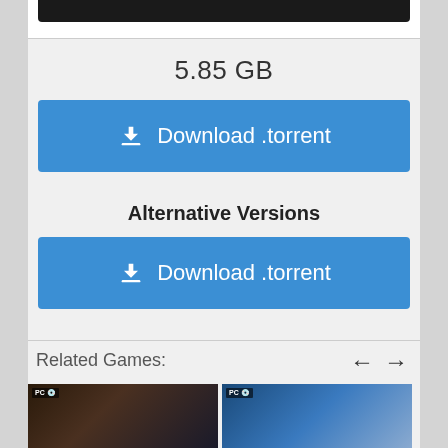5.85 GB
Download .torrent
Alternative Versions
Download .torrent
Related Games:
[Figure (illustration): Two game cover thumbnails for related games, both showing PC DVD labels. Left one shows a dark soldier scene, right one shows aerial combat scene.]